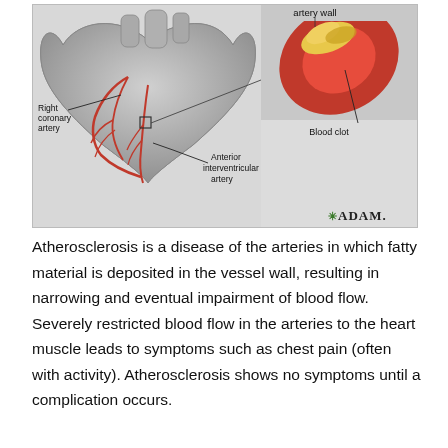[Figure (illustration): Medical illustration showing a human heart with labeled Right coronary artery and Anterior interventricular artery, alongside a cross-section of an artery showing a Blood clot (atherosclerotic plaque). Labels include 'artery wall', 'Blood clot', 'Right coronary artery', and 'Anterior interventricular artery'. The ADAM logo appears in the bottom right corner.]
Atherosclerosis is a disease of the arteries in which fatty material is deposited in the vessel wall, resulting in narrowing and eventual impairment of blood flow. Severely restricted blood flow in the arteries to the heart muscle leads to symptoms such as chest pain (often with activity). Atherosclerosis shows no symptoms until a complication occurs.